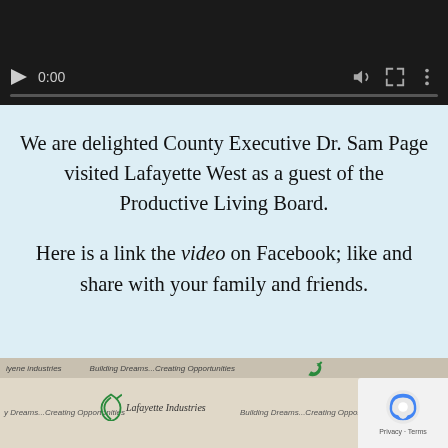[Figure (screenshot): Video player with dark background showing 0:00 timestamp, play button, volume icon, fullscreen icon, and more options icon with a progress bar at the bottom]
We are delighted County Executive Dr. Sam Page visited Lafayette West as a guest of the Productive Living Board.
Here is a link the video on Facebook; like and share with your family and friends.
[Figure (photo): Bottom portion showing Lafayette Industries banner with logo and text 'Building Dreams...Creating Opportunities' repeated, and a reCAPTCHA Privacy Terms badge in the corner]